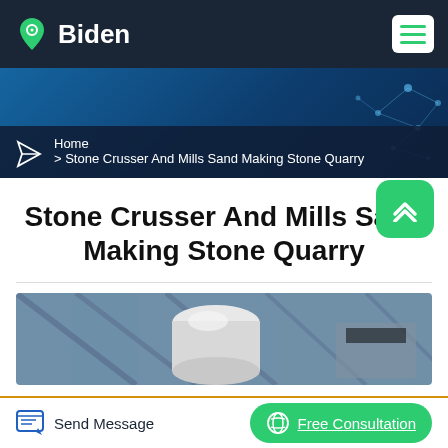Biden
[Figure (screenshot): Website header with Biden logo (green location pin with H, white Biden text) on dark navy background, and hamburger menu button on right]
[Figure (screenshot): Blue gradient hero banner with network/tech graphic on right and breadcrumb navigation: Home > Stone Crusser And Mills Sand Making Stone Quarry]
Stone Crusser And Mills Sand Making Stone Quarry
[Figure (photo): Industrial machinery photo showing what appears to be a stone crusher or mill equipment in a factory setting with structural steel beams overhead]
Send Message | Free Consultation